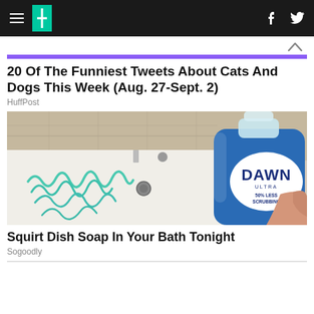HuffPost navigation bar with logo, hamburger menu, facebook and twitter icons
20 Of The Funniest Tweets About Cats And Dogs This Week (Aug. 27-Sept. 2)
HuffPost
[Figure (photo): A white bathtub with blue Dawn dish soap squirted in squiggly patterns on the surface. A hand holds a blue bottle of Dawn Ultra dish soap (50% Less Scrubbing) in the foreground.]
Squirt Dish Soap In Your Bath Tonight
Sogoodly